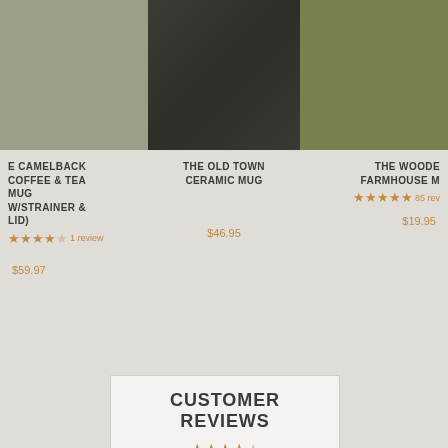[Figure (photo): Product image for E Camelback Coffee & Tea Mug w/Strainer & Lid - grayish-green color swatch]
E CAMELBACK COFFEE & TEA MUG W/STRAINER & LID)
★★★★☆ 1 review
$59.97
[Figure (photo): Product image for The Old Town Ceramic Mug - dark charcoal color swatch]
THE OLD TOWN CERAMIC MUG
$46.95
[Figure (photo): Product image for The Woode Farmhouse Mug - olive green color swatch]
THE WOODE FARMHOUSE M
★★★★★ 85 rev
$19.95
CUSTOMER REVIEWS
[Figure (other): Star rating display at bottom of customer reviews section]